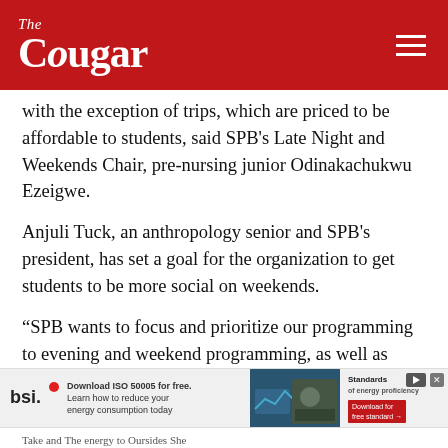The Cougar
with the exception of trips, which are priced to be affordable to students, said SPB's Late Night and Weekends Chair, pre-nursing junior Odinakachukwu Ezeigwe.
Anjuli Tuck, an anthropology senior and SPB's president, has set a goal for the organization to get students to be more social on weekends.
“SPB wants to focus and prioritize our programming to evening and weekend programming, as well as improve the overall student life on campus for all UH students,” Tuck said.
[Figure (screenshot): BSI advertisement banner with logo, text about downloading ISO 50005, an image of a person, and download button]
Take and The energy to Oursides She